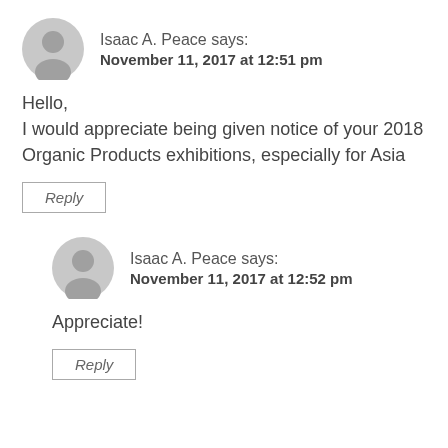Isaac A. Peace says:
November 11, 2017 at 12:51 pm
Hello,
I would appreciate being given notice of your 2018 Organic Products exhibitions, especially for Asia
Reply
Isaac A. Peace says:
November 11, 2017 at 12:52 pm
Appreciate!
Reply